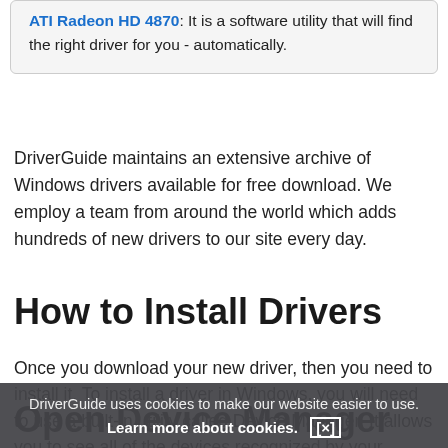ATI Radeon HD 4870: It is a software utility that will find the right driver for you - automatically.
DriverGuide maintains an extensive archive of Windows drivers available for free download. We employ a team from around the world which adds hundreds of new drivers to our site every day.
How to Install Drivers
Once you download your new driver, then you need to install it. To install a driver in Windows, you will need to use a built-in utility called Device Manager. It allows you to see all of the devices recognized by your system, and the drivers associated with them.
Open Device Manager
DriverGuide uses cookies to make our website easier to use. Learn more about cookies. [x]